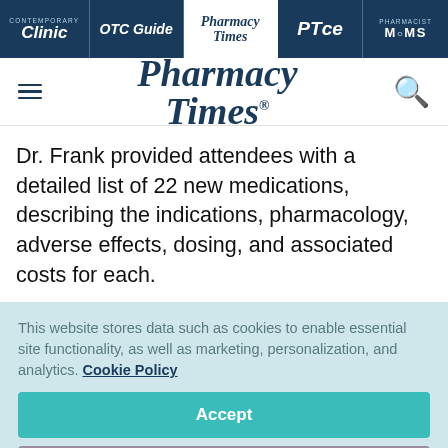Contemporary Clinic | OTC Guide | Pharmacy Times | PTce | Pharmacist MOMS
[Figure (logo): Pharmacy Times logo with hamburger menu and search icon in header bar]
Dr. Frank provided attendees with a detailed list of 22 new medications, describing the indications, pharmacology, adverse effects, dosing, and associated costs for each.
This website stores data such as cookies to enable essential site functionality, as well as marketing, personalization, and analytics. Cookie Policy
Accept
Deny